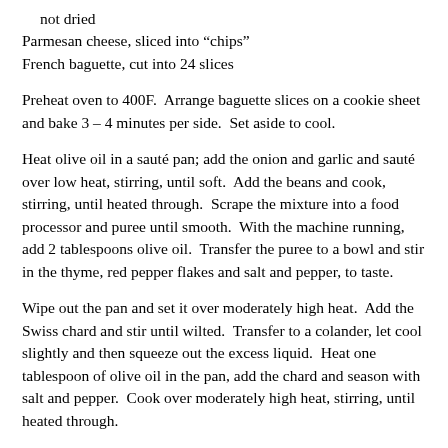not dried
Parmesan cheese, sliced into “chips”
French baguette, cut into 24 slices
Preheat oven to 400F.  Arrange baguette slices on a cookie sheet and bake 3 – 4 minutes per side.  Set aside to cool.
Heat olive oil in a sauté pan; add the onion and garlic and sauté over low heat, stirring, until soft.  Add the beans and cook, stirring, until heated through.  Scrape the mixture into a food processor and puree until smooth.  With the machine running, add 2 tablespoons olive oil.  Transfer the puree to a bowl and stir in the thyme, red pepper flakes and salt and pepper, to taste.
Wipe out the pan and set it over moderately high heat.  Add the Swiss chard and stir until wilted.  Transfer to a colander, let cool slightly and then squeeze out the excess liquid.  Heat one tablespoon of olive oil in the pan, add the chard and season with salt and pepper.  Cook over moderately high heat, stirring, until heated through.
Spread each baguette slice with about one tablespoon of the bean